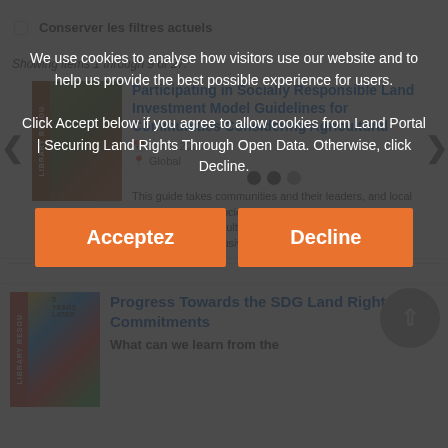Conserver les filtres actuels
Showing items 1 through 9 of 27.
Participating in Socially Responsible Land Investment Model Guidelines for Communities Considering Agricultural Investments
mars, 2020
Global
This guide takes communities and their leaders, and local and national civil society organisations, through the steps to ensure that agricultural investments in the community are carried out inclusively and responsibly.
We use cookies to analyse how visitors use our website and to help us provide the best possible experience for users. Click Accept below if you agree to allow cookies from Land Portal | Securing Land Rights Through Open Data. Otherwise, click Decline.
Acceptez
Decline
Progress Towards the SDG Land Rights Commitments
What can we learn from the